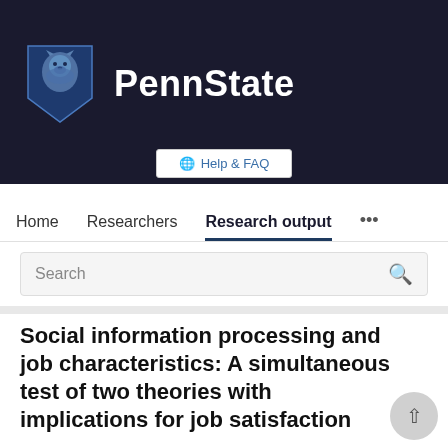[Figure (logo): Penn State University logo with lion shield and PennState wordmark on dark background]
Help & FAQ
Home   Researchers   Research output   ...
Search
Social information processing and job characteristics: A simultaneous test of two theories with implications for job satisfaction